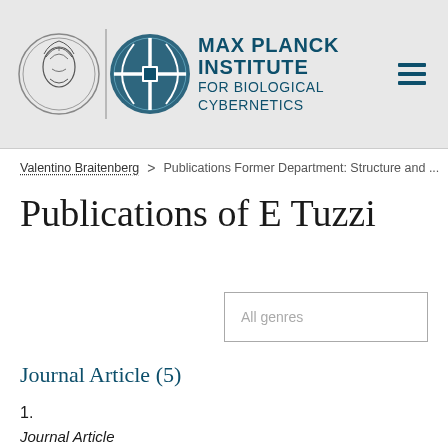[Figure (logo): Max Planck Institute for Biological Cybernetics logo with two circular emblems and institution name]
Valentino Braitenberg  >  Publications Former Department: Structure and ...
Publications of E Tuzzi
All genres
Journal Article (5)
1.
Journal Article